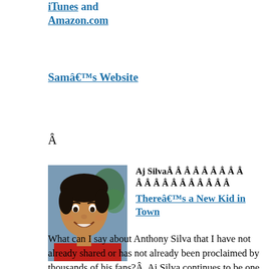iTunes and Amazon.com
Samâ€™s Website
Â
[Figure (photo): Photo of a young boy (Aj Silva) smiling, wearing a red shirt, with a Christmas tree in the background.]
Aj Silva Â Â Â Â Â Â Â Â Â Â Â Â Â Â Â Â Â Â Â
Thereâ€™s a New Kid in Town
What can I say about Anthony Silva that I have not already shared or has not already been proclaimed by thousands of his fans?Â  Aj Silva continues to be one to